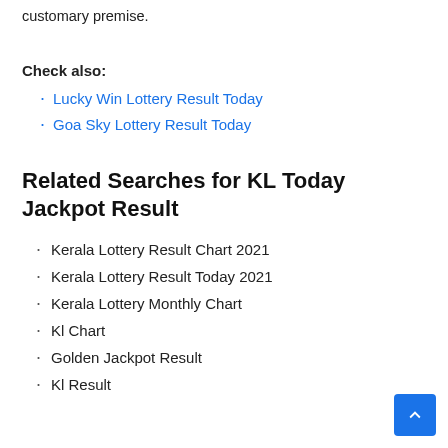customary premise.
Check also:
Lucky Win Lottery Result Today
Goa Sky Lottery Result Today
Related Searches for KL Today Jackpot Result
Kerala Lottery Result Chart 2021
Kerala Lottery Result Today 2021
Kerala Lottery Monthly Chart
Kl Chart
Golden Jackpot Result
Kl Result